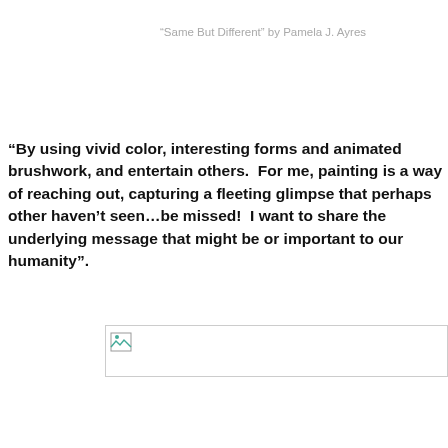“Same But Different” by Pamela J. Ayres
“By using vivid color, interesting forms and animated brushwork, and entertain others. For me, painting is a way of reaching out, capturing a fleeting glimpse that perhaps other haven’t seen…be missed! I want to share the underlying message that might be or important to our humanity”.
[Figure (photo): A partially visible image placeholder (broken image icon) at the bottom portion of the page]